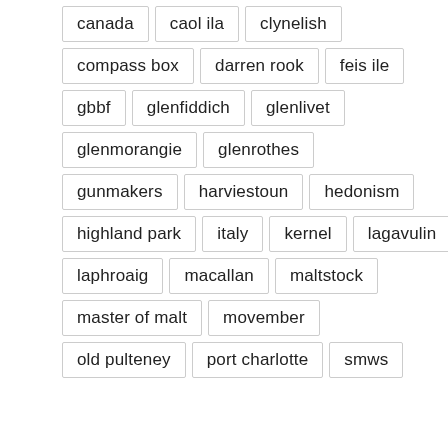canada
caol ila
clynelish
compass box
darren rook
feis ile
gbbf
glenfiddich
glenlivet
glenmorangie
glenrothes
gunmakers
harviestoun
hedonism
highland park
italy
kernel
lagavulin
laphroaig
macallan
maltstock
master of malt
movember
old pulteney
port charlotte
smws